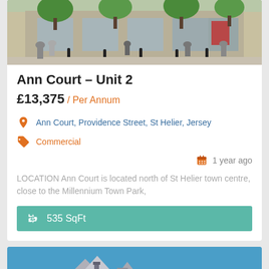[Figure (photo): Exterior photo of Ann Court development showing modern building facade with trees and pedestrians]
Ann Court – Unit 2
£13,375 / Per Annum
Ann Court, Providence Street, St Helier, Jersey
Commercial
1 year ago
LOCATION Ann Court is located north of St Helier town centre, close to the Millennium Town Park,
535 SqFt
[Figure (photo): Partial photo of another property with Featured and All Properties labels]